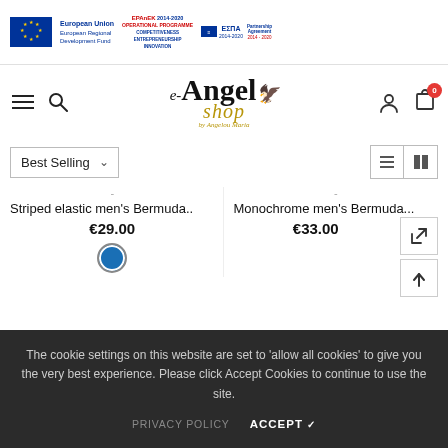[Figure (logo): EU logos header bar: European Union European Regional Development Fund, EPAnEK 2014-2020 Operational Programme Competitiveness Entrepreneurship Innovation, ESPA 2014-2020 Partnership Agreement 2014-2020]
[Figure (logo): e-Angel shop by Angelou Maria logo in serif font with golden wing and shop text]
[Figure (infographic): Navigation bar with hamburger menu, search icon, user icon, and cart icon with badge showing 0]
[Figure (infographic): Best Selling dropdown sort selector and list/grid view toggle icons]
Striped elastic men's Bermuda..
€29.00
[Figure (infographic): Blue color swatch circle for product]
Monochrome men's Bermuda...
€33.00
[Figure (infographic): Side action buttons: share/external link icon and scroll-to-top arrow]
The cookie settings on this website are set to 'allow all cookies' to give you the very best experience. Please click Accept Cookies to continue to use the site.
PRIVACY POLICY   ACCEPT ✓